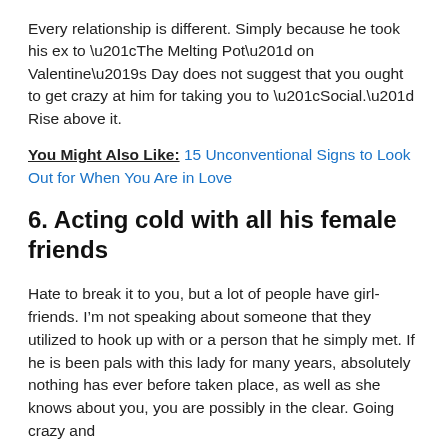Every relationship is different. Simply because he took his ex to “The Melting Pot” on Valentine’s Day does not suggest that you ought to get crazy at him for taking you to “Social.” Rise above it.
You Might Also Like: 15 Unconventional Signs to Look Out for When You Are in Love
6. Acting cold with all his female friends
Hate to break it to you, but a lot of people have girlfriends. I’m not speaking about someone that they utilized to hook up with or a person that he simply met. If he is been pals with this lady for many years, absolutely nothing has ever before taken place, as well as she knows about you, you are possibly in the clear. Going crazy and